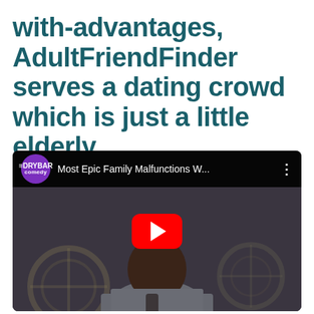with-advantages, AdultFriendFinder serves a dating crowd which is just a little elderly
[Figure (screenshot): YouTube video thumbnail showing a comedy video titled 'Most Epic Family Malfunctions W...' from Drybar Comedy channel, featuring a Black male comedian holding a microphone, with vintage fans in the background. A red YouTube play button is overlaid in the center.]